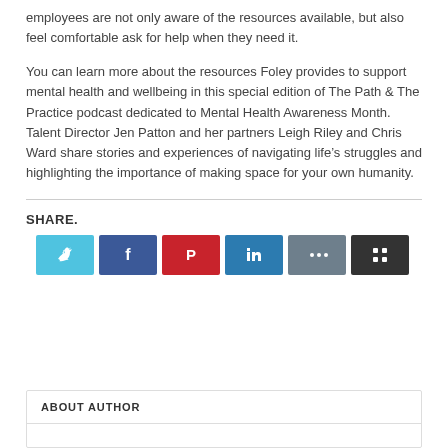employees are not only aware of the resources available, but also feel comfortable ask for help when they need it.
You can learn more about the resources Foley provides to support mental health and wellbeing in this special edition of The Path & The Practice podcast dedicated to Mental Health Awareness Month. Talent Director Jen Patton and her partners Leigh Riley and Chris Ward share stories and experiences of navigating life’s struggles and highlighting the importance of making space for your own humanity.
SHARE.
[Figure (infographic): Six social share buttons: Twitter (light blue), Facebook (dark blue), Pinterest (red), LinkedIn (medium blue), another social icon (gray-blue), and a grid/share icon (dark/black).]
ABOUT AUTHOR